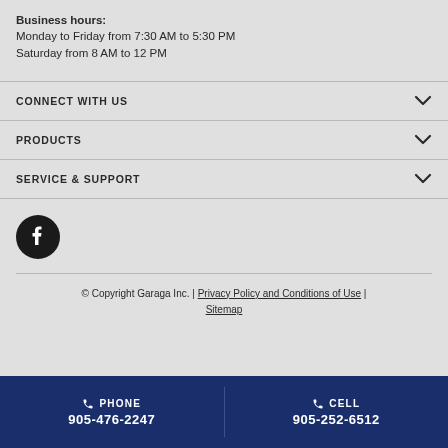Business hours:
Monday to Friday from 7:30 AM to 5:30 PM
Saturday from 8 AM to 12 PM
CONNECT WITH US
PRODUCTS
SERVICE & SUPPORT
[Figure (logo): Facebook logo icon — black circle with white 'f' symbol]
© Copyright Garaga Inc. | Privacy Policy and Conditions of Use | Sitemap
PHONE 905-476-2247
CELL 905-252-6512